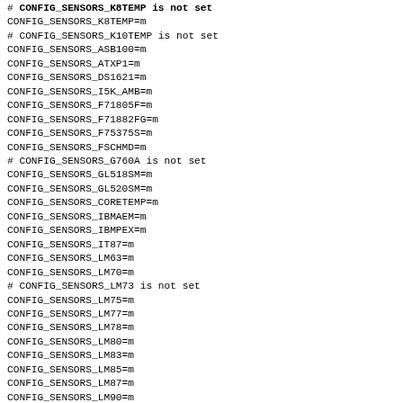# CONFIG_SENSORS_K8TEMP is not set
CONFIG_SENSORS_K8TEMP=m
# CONFIG_SENSORS_K10TEMP is not set
CONFIG_SENSORS_ASB100=m
CONFIG_SENSORS_ATXP1=m
CONFIG_SENSORS_DS1621=m
CONFIG_SENSORS_I5K_AMB=m
CONFIG_SENSORS_F71805F=m
CONFIG_SENSORS_F71882FG=m
CONFIG_SENSORS_F75375S=m
CONFIG_SENSORS_FSCHMD=m
# CONFIG_SENSORS_G760A is not set
CONFIG_SENSORS_GL518SM=m
CONFIG_SENSORS_GL520SM=m
CONFIG_SENSORS_CORETEMP=m
CONFIG_SENSORS_IBMAEM=m
CONFIG_SENSORS_IBMPEX=m
CONFIG_SENSORS_IT87=m
CONFIG_SENSORS_LM63=m
CONFIG_SENSORS_LM70=m
# CONFIG_SENSORS_LM73 is not set
CONFIG_SENSORS_LM75=m
CONFIG_SENSORS_LM77=m
CONFIG_SENSORS_LM78=m
CONFIG_SENSORS_LM80=m
CONFIG_SENSORS_LM83=m
CONFIG_SENSORS_LM85=m
CONFIG_SENSORS_LM87=m
CONFIG_SENSORS_LM90=m
CONFIG_SENSORS_LM92=m
CONFIG_SENSORS_LM93=m